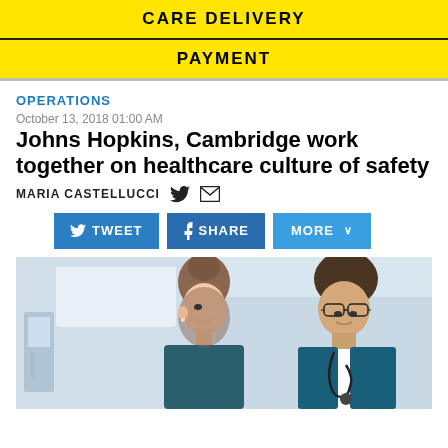CARE DELIVERY
PAYMENT
OPERATIONS
October 13, 2018 01:00 AM
Johns Hopkins, Cambridge work together on healthcare culture of safety
MARIA CASTELLUCCI
[Figure (infographic): Social share buttons: TWEET, SHARE, MORE]
[Figure (photo): Two healthcare professionals, a female nurse and a male doctor with stethoscope and glasses, looking at something together in a clinical setting]